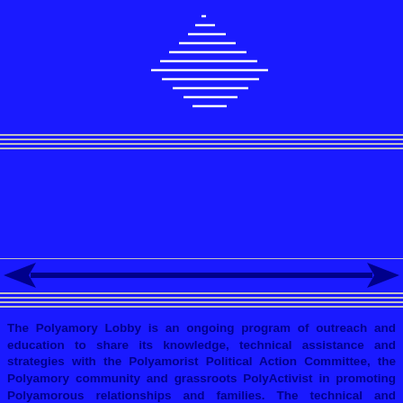[Figure (logo): Stylized logo with white diagonal lines forming a triangular/starburst pattern on a blue background, resembling stacked horizontal lines increasing in width, centered in the upper portion of the page]
[Figure (illustration): A horizontal double-headed arrow with dark navy arrowheads on both ends, spanning the full width of the page on a blue background with silver/grey horizontal striped bands above and below]
The Polyamory Lobby is an ongoing program of outreach and education to share its knowledge, technical assistance and strategies with the Polyamorist Political Action Committee, the Polyamory community and grassroots PolyActivist in promoting Polyamorous relationships and families. The technical and strategic